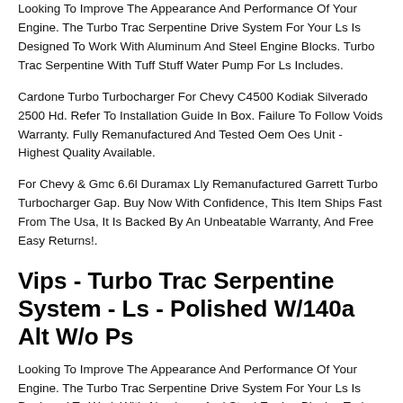Looking To Improve The Appearance And Performance Of Your Engine. The Turbo Trac Serpentine Drive System For Your Ls Is Designed To Work With Aluminum And Steel Engine Blocks. Turbo Trac Serpentine With Tuff Stuff Water Pump For Ls Includes.
Cardone Turbo Turbocharger For Chevy C4500 Kodiak Silverado 2500 Hd. Refer To Installation Guide In Box. Failure To Follow Voids Warranty. Fully Remanufactured And Tested Oem Oes Unit - Highest Quality Available.
For Chevy & Gmc 6.6l Duramax Lly Remanufactured Garrett Turbo Turbocharger Gap. Buy Now With Confidence, This Item Ships Fast From The Usa, It Is Backed By An Unbeatable Warranty, And Free Easy Returns!.
Vips - Turbo Trac Serpentine System - Ls - Polished W/140a Alt W/o Ps
Looking To Improve The Appearance And Performance Of Your Engine. The Turbo Trac Serpentine Drive System For Your Ls Is Designed To Work With Aluminum And Steel Engine Blocks. Turbo Trac Serpentine With Tuff Stuff Water Pump For Ls Includes.
Turbo Intercooler Radiator Kit 240sx